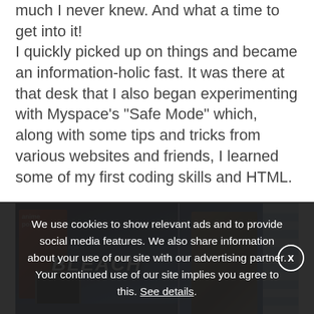much I never knew. And what a time to get into it!
I quickly picked up on things and became an information-holic fast. It was there at that desk that I also began experimenting with Myspace's "Safe Mode" which, along with some tips and tricks from various websites and friends, I learned some of my first coding skills and HTML.
[Figure (photo): A photo collage showing anime merchandise including a Bleach DVD box set display, manga volumes on shelves, a monitor, and anime character artwork, in blue and dark tones.]
We use cookies to show relevant ads and to provide social media features. We also share information about your use of our site with our advertising partner. Your continued use of our site implies you agree to this. See details.